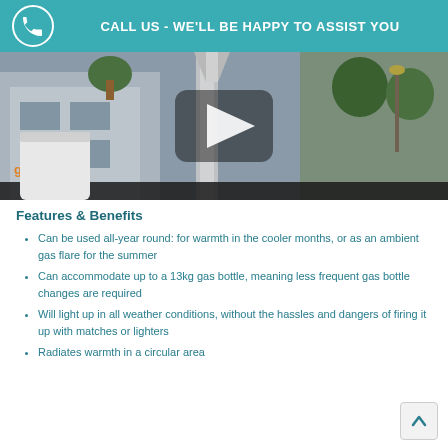CALL US - WE'LL BE HAPPY TO ASSIST YOU
[Figure (screenshot): Video thumbnail showing an outdoor patio heater with a play button overlay. The video features a glowwarm branded patio heater in an outdoor setting with trees and a building in the background.]
Features & Benefits
Can be used all-year round: for warmth in the cooler months, or as an ambient gas flare for the summer
Can accommodate up to a 13kg gas bottle, meaning less frequent gas bottle changes are required
Will light up in all weather conditions, without the hassles and dangers of firing it up with matches or lighters
Radiates warmth in a circular area